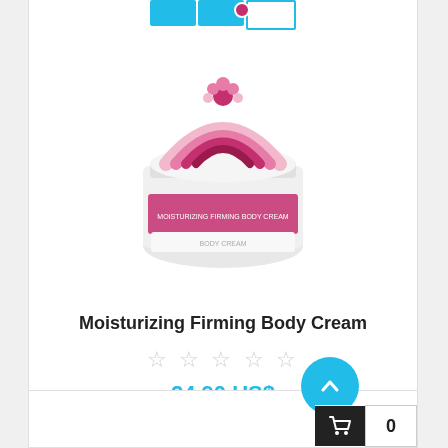[Figure (photo): A moisturizing firming body cream product in a round white jar with pink and dark pink arc/rainbow decorative label design, shown from above at slight angle.]
Moisturizing Firming Body Cream
★★★★★ (empty stars rating)
24,90 US$